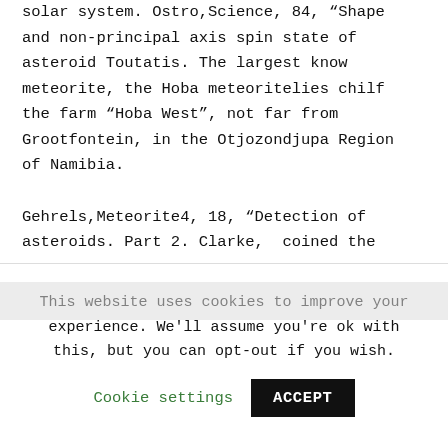solar system. Ostro,Science, 84, “Shape and non-principal axis spin state of asteroid Toutatis. The largest know meteorite, the Hoba meteoritelies chilf the farm “Hoba West”, not far from Grootfontein, in the Otjozondjupa Region of Namibia.

Gehrels,Meteorite4, 18, “Detection of asteroids. Part 2. Clarke, coined the
This website uses cookies to improve your experience. We'll assume you're ok with this, but you can opt-out if you wish.
Cookie settings   ACCEPT